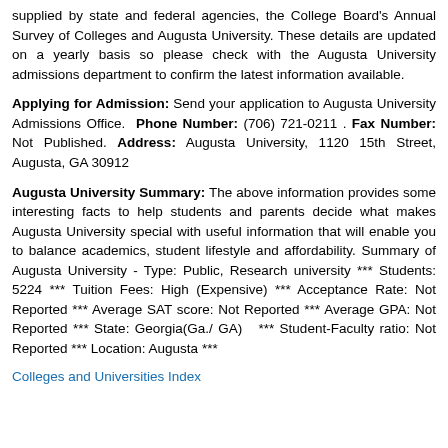supplied by state and federal agencies, the College Board's Annual Survey of Colleges and Augusta University. These details are updated on a yearly basis so please check with the Augusta University admissions department to confirm the latest information available.
Applying for Admission: Send your application to Augusta University Admissions Office. Phone Number: (706) 721-0211 . Fax Number: Not Published. Address: Augusta University, 1120 15th Street, Augusta, GA 30912
Augusta University Summary: The above information provides some interesting facts to help students and parents decide what makes Augusta University special with useful information that will enable you to balance academics, student lifestyle and affordability. Summary of Augusta University - Type: Public, Research university *** Students: 5224 *** Tuition Fees: High (Expensive) *** Acceptance Rate: Not Reported *** Average SAT score: Not Reported *** Average GPA: Not Reported *** State: Georgia(Ga./ GA) *** Student-Faculty ratio: Not Reported *** Location: Augusta ***
Colleges and Universities Index